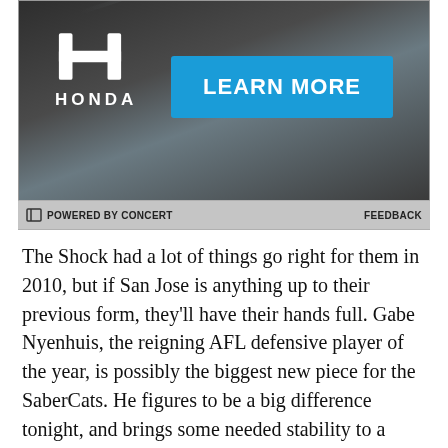[Figure (photo): Honda advertisement banner with dark grey gradient background, Honda H logo and HONDA text on left, blue 'LEARN MORE' button on right, with a diagonal light streak across the background.]
POWERED BY CONCERT    FEEDBACK
The Shock had a lot of things go right for them in 2010, but if San Jose is anything up to their previous form, they'll have their hands full. Gabe Nyenhuis, the reigning AFL defensive player of the year, is possibly the biggest new piece for the SaberCats. He figures to be a big difference tonight, and brings some needed stability to a team makin their return after two years of inactivity.
It's unclear how much rust there will be, how long it will take to break in the playing shoes for the SaberCats. They have key players returning, and Darren Arbet